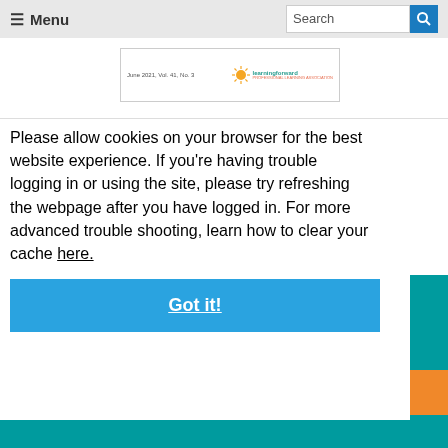≡ Menu   Search [search button]
[Figure (screenshot): Journal thumbnail showing 'June 2021, Vol. 41, No. 3' with learningforward logo with sunburst icon]
Please allow cookies on your browser for the best website experience. If you're having trouble logging in or using the site, please try refreshing the webpage after you have logged in. For more advanced trouble shooting, learn how to clear your cache here.
Got it!